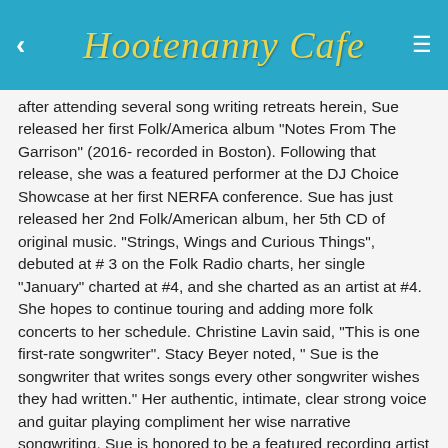Hootenanny Cafe
after attending several song writing retreats herein, Sue released her first Folk/America album "Notes From The Garrison" (2016- recorded in Boston). Following that release, she was a featured performer at the DJ Choice Showcase at her first NERFA conference. Sue has just released her 2nd Folk/American album, her 5th CD of original music. "Strings, Wings and Curious Things", debuted at # 3 on the Folk Radio charts, her single "January" charted at #4, and she charted as an artist at #4. She hopes to continue touring and adding more folk concerts to her schedule. Christine Lavin said, "This is one first-rate songwriter". Stacy Beyer noted, " Sue is the songwriter that writes songs every other songwriter wishes they had written." Her authentic, intimate, clear strong voice and guitar playing compliment her wise narrative songwriting. Sue is honored to be a featured recording artist on the Hootenanny Cafe!
Website